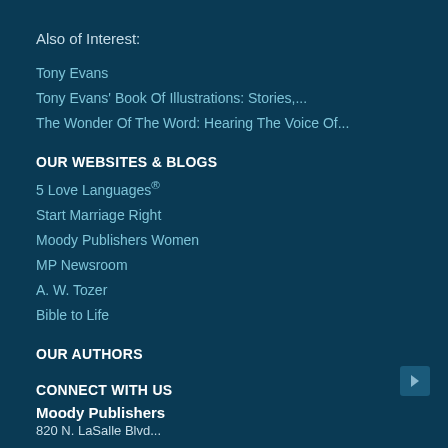Also of Interest:
Tony Evans
Tony Evans' Book Of Illustrations: Stories,...
The Wonder Of The Word: Hearing The Voice Of...
OUR WEBSITES & BLOGS
5 Love Languages®
Start Marriage Right
Moody Publishers Women
MP Newsroom
A. W. Tozer
Bible to Life
OUR AUTHORS
CONNECT WITH US
Moody Publishers
820 N. LaSalle Blvd...